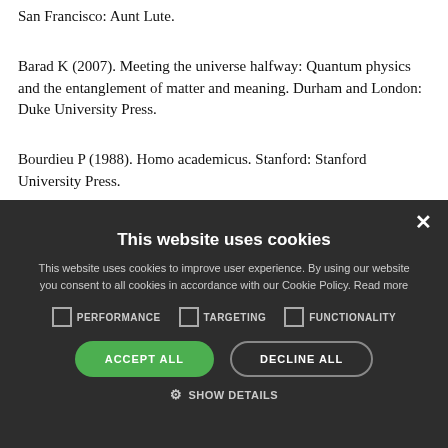San Francisco: Aunt Lute.
Barad K (2007). Meeting the universe halfway: Quantum physics and the entanglement of matter and meaning. Durham and London: Duke University Press.
Bourdieu P (1988). Homo academicus. Stanford: Stanford University Press.
[Figure (screenshot): Cookie consent modal overlay on dark background with title 'This website uses cookies', body text about cookie policy, checkboxes for PERFORMANCE, TARGETING, FUNCTIONALITY, ACCEPT ALL and DECLINE ALL buttons, and SHOW DETAILS link.]